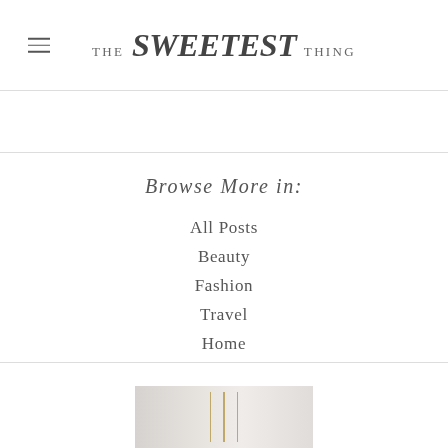THE sweetest THING
Browse More in:
All Posts
Beauty
Fashion
Travel
Home
Nordstrom Sale
[Figure (photo): Partial view of a room interior with vertical gold/brass lines visible at the bottom of the page]